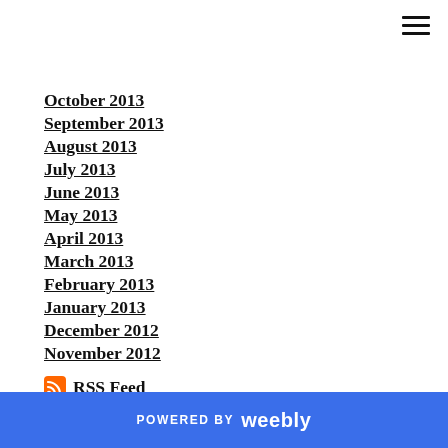October 2013
September 2013
August 2013
July 2013
June 2013
May 2013
April 2013
March 2013
February 2013
January 2013
December 2012
November 2012
RSS Feed
POWERED BY weebly